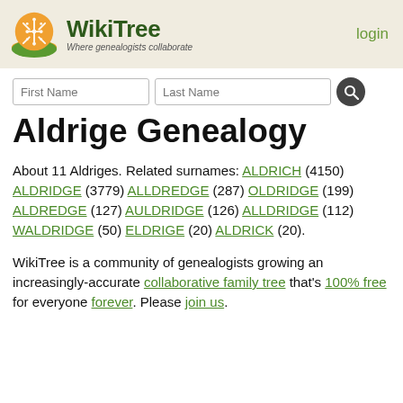WikiTree — Where genealogists collaborate | login
Aldrige Genealogy
About 11 Aldriges. Related surnames: ALDRICH (4150) ALDRIDGE (3779) ALLDREDGE (287) OLDRIDGE (199) ALDREDGE (127) AULDRIDGE (126) ALLDRIDGE (112) WALDRIDGE (50) ELDRIGE (20) ALDRICK (20).
WikiTree is a community of genealogists growing an increasingly-accurate collaborative family tree that's 100% free for everyone forever. Please join us.